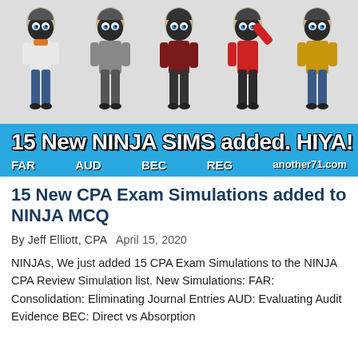[Figure (illustration): Banner image with blue background showing five anime-style ninja characters in different colored outfits (white, grey, dark red, red, yellow/mustard), with large bold white text '15 New NINJA SIMS added. HIYA!' and labels FAR, AUD, BEC, REG, another71.com]
15 New CPA Exam Simulations added to NINJA MCQ
By Jeff Elliott, CPA   April 15, 2020
NINJAs, We just added 15 CPA Exam Simulations to the NINJA CPA Review Simulation list. New Simulations: FAR: Consolidation: Eliminating Journal Entries AUD: Evaluating Audit Evidence BEC: Direct vs Absorption